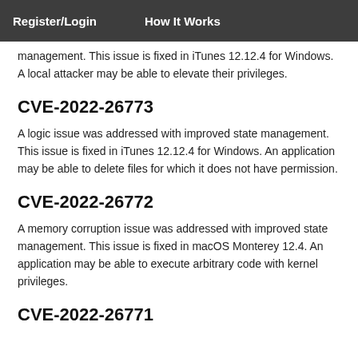Register/Login   How It Works
management. This issue is fixed in iTunes 12.12.4 for Windows. A local attacker may be able to elevate their privileges.
CVE-2022-26773
A logic issue was addressed with improved state management. This issue is fixed in iTunes 12.12.4 for Windows. An application may be able to delete files for which it does not have permission.
CVE-2022-26772
A memory corruption issue was addressed with improved state management. This issue is fixed in macOS Monterey 12.4. An application may be able to execute arbitrary code with kernel privileges.
CVE-2022-26771